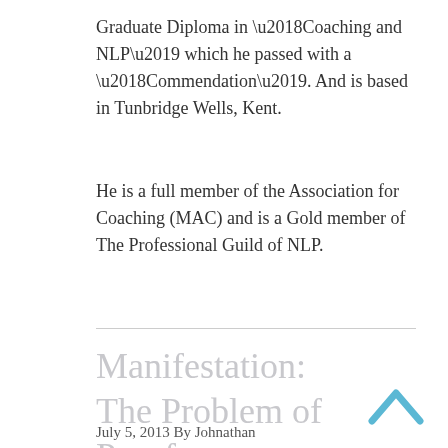Graduate Diploma in ‘Coaching and NLP’ which he passed with a ‘Commendation’. And is based in Tunbridge Wells, Kent.
He is a full member of the Association for Coaching (MAC) and is a Gold member of The Professional Guild of NLP.
Manifestation: The Problem of Proof
July 5, 2013 By Johnathan